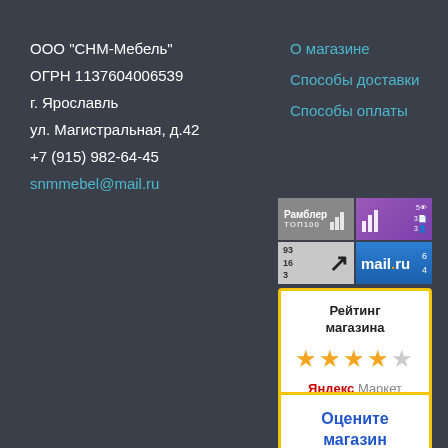ООО "СНМ-Мебель"
ОГРН 1137604006539
г. Ярославль
ул. Магистральная, д.42
+7 (915) 982-64-45
snmmebel@mail.ru
О магазине
Способы доставки
Способы оплаты
[Figure (logo): Rambler TOP100 badge with bar chart icon]
[Figure (logo): Purple analytics badge]
[Figure (logo): Counter badge with numbers 93 16 3 and arrow]
[Figure (logo): mail.ru badge]
[Figure (infographic): Яндекс Маркет rating box showing 4 out of 5 stars for store rating]
[Figure (infographic): Rate the store on Маркет box]